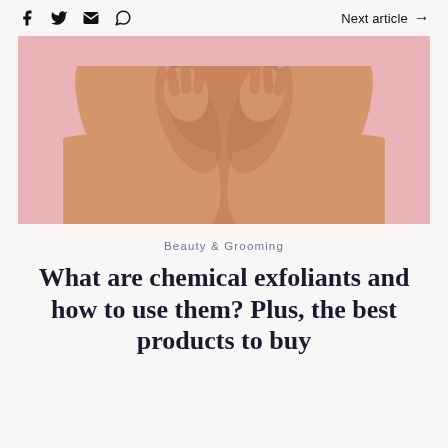social icons | Next article →
[Figure (photo): Close-up photo of a woman with hands raised to her face against a pink background, showing bare shoulders and arms framing her face]
Beauty & Grooming
What are chemical exfoliants and how to use them? Plus, the best products to buy